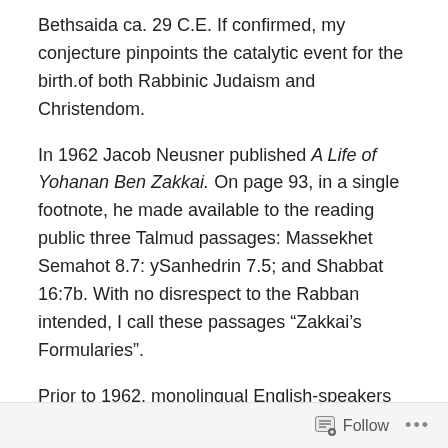Bethsaida ca. 29 C.E. If confirmed, my conjecture pinpoints the catalytic event for the birth.of both Rabbinic Judaism and Christendom.
In 1962 Jacob Neusner published A Life of Yohanan Ben Zakkai. On page 93, in a single footnote, he made available to the reading public three Talmud passages: Massekhet Semahot 8.7: ySanhedrin 7.5; and Shabbat 16:7b. With no disrespect to the Rabban intended, I call these passages “Zakkai’s Formularies”.
Prior to 1962, monolingual English-speakers had virtually no way to know that first-century Palestinian Jews had a written rationale for the execution of gentile gays and lesbians, and that this case was argued before a Jewish Roman surrogate.
Follow ...